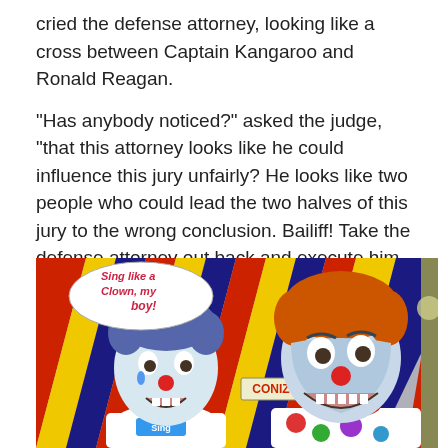cried the defense attorney, looking like a cross between Captain Kangaroo and Ronald Reagan.
“Has anybody noticed?” asked the judge, “that this attorney looks like he could influence this jury unfairly? He looks like two people who could lead the two halves of this jury to the wrong conclusion. Bailiff! Take the defense attorney out back and execute him by firing squad.”
[Figure (illustration): A colorful illustration showing two clown figures against a striped circus tent background. The left figure appears to be a child with blue clown makeup and red nose with a tear on cheek, with a speech bubble reading 'Sing like a Clown, my boy!' The right figure is a larger clown with blue face paint, red nose, orange hair, and a polka-dotted costume. A sign reads 'CONIZ' and the child has a tag reading 'Sing'.]